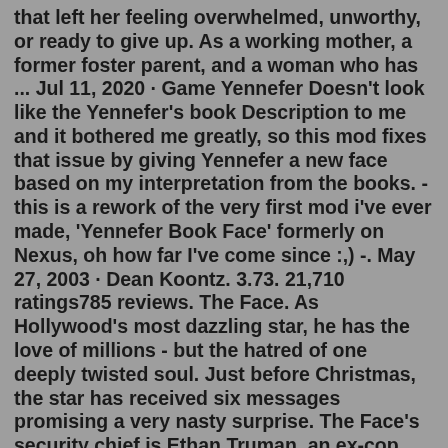that left her feeling overwhelmed, unworthy, or ready to give up. As a working mother, a former foster parent, and a woman who has ... Jul 11, 2020 · Game Yennefer Doesn't look like the Yennefer's book Description to me and it bothered me greatly, so this mod fixes that issue by giving Yennefer a new face based on my interpretation from the books. - this is a rework of the very first mod i've ever made, 'Yennefer Book Face' formerly on Nexus, oh how far I've come since :,) -. May 27, 2003 · Dean Koontz. 3.73. 21,710 ratings785 reviews. The Face. As Hollywood's most dazzling star, he has the love of millions - but the hatred of one deeply twisted soul. Just before Christmas, the star has received six messages promising a very nasty surprise. The Face's security chief is Ethan Truman, an ex-cop with a troubled past. With thousands of professionally designed layouts and graphics to spruce up your message, it couldn't be easier to make an impact. Hundreds of templates you can personalize and reuse.